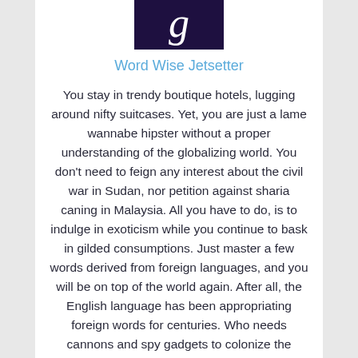[Figure (logo): Dark purple/navy square logo with a white italic cursive letter G]
Word Wise Jetsetter
You stay in trendy boutique hotels, lugging around nifty suitcases. Yet, you are just a lame wannabe hipster without a proper understanding of the globalizing world. You don't need to feign any interest about the civil war in Sudan, nor petition against sharia caning in Malaysia. All you have to do, is to indulge in exoticism while you continue to bask in gilded consumptions. Just master a few words derived from foreign languages, and you will be on top of the world again. After all, the English language has been appropriating foreign words for centuries. Who needs cannons and spy gadgets to colonize the world? The cool lingo for the new global village is, of course, still English!